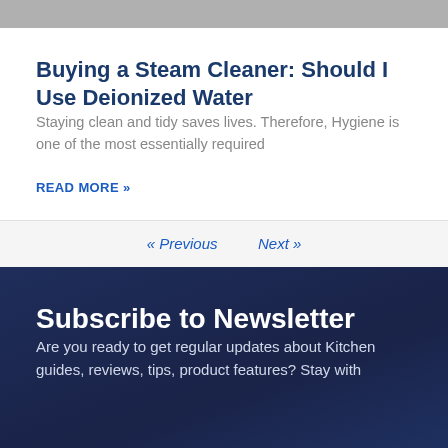Buying a Steam Cleaner: Should I Use Deionized Water
Staying clean and tidy saves lives. Therefore, Hygiene is one of the most essentially required
READ MORE »
« Previous   Next »
Subscribe to Newsletter
Are you ready to get regular updates about Kitchen guides, reviews, tips, product features? Stay with